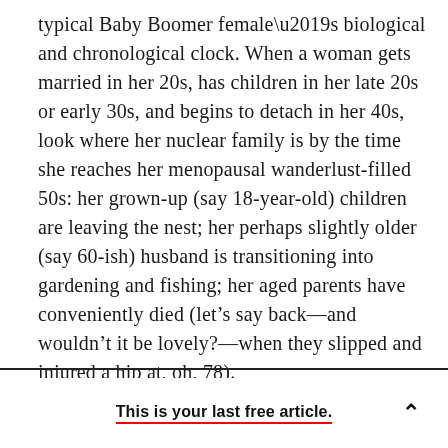typical Baby Boomer female's biological and chronological clock. When a woman gets married in her 20s, has children in her late 20s or early 30s, and begins to detach in her 40s, look where her nuclear family is by the time she reaches her menopausal wanderlust-filled 50s: her grown-up (say 18-year-old) children are leaving the nest; her perhaps slightly older (say 60-ish) husband is transitioning into gardening and fishing; her aged parents have conveniently died (let’s say back—and wouldn’t it be lovely?—when they slipped and injured a hip at, oh, 78).
This is your last free article.